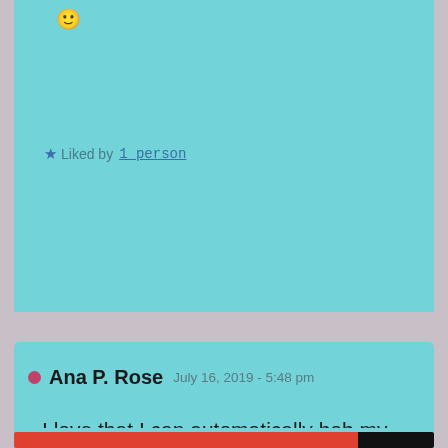[Figure (screenshot): Partial top comment card on teal/cyan background showing a smiley emoji and a 'Liked by 1 person' star rating link]
😊
★ Liked by 1 person
[Figure (screenshot): Second comment card on teal/cyan background with author Ana P. Rose, date July 16, 2019 - 5:48 pm, and comment text: I love that I can automatically bob my head to it. It's such a good song. 🙂]
Ana P. Rose  July 16, 2019 - 5:48 pm
I love that I can automatically bob my head to it. It's such a good song. 🙂
Privacy & Cookies: This site uses cookies. By continuing to use this website, you agree to their use.
To find out more, including how to control cookies, see here: Cookie Policy
Close and accept